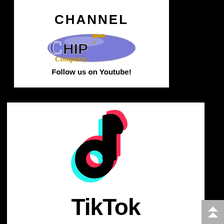CHANNEL
[Figure (logo): Chip and Company logo - stylized text with Disney-style font in purple/blue and gold colors]
Follow us on Youtube!
[Figure (logo): TikTok logo - musical note icon with cyan and pink shadow effects on black, with TikTok text below]